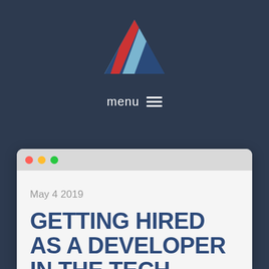[Figure (logo): Triangular logo made of diagonal stripes in light blue, red, and dark blue forming a triangle shape]
menu ≡
[Figure (screenshot): Browser window mockup with macOS-style traffic light dots (red, yellow, green) in the title bar, showing a blog post dated May 4 2019 with title GETTING HIRED AS A DEVELOPER IN THE TECH]
May 4 2019
GETTING HIRED AS A DEVELOPER IN THE TECH